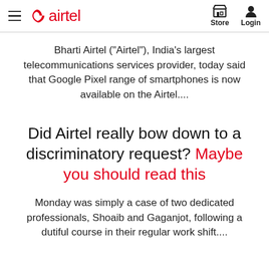airtel | Store | Login
Bharti Airtel (“Airtel”), India’s largest telecommunications services provider, today said that Google Pixel range of smartphones is now available on the Airtel....
Did Airtel really bow down to a discriminatory request? Maybe you should read this
Monday was simply a case of two dedicated professionals, Shoaib and Gaganjot, following a dutiful course in their regular work shift....